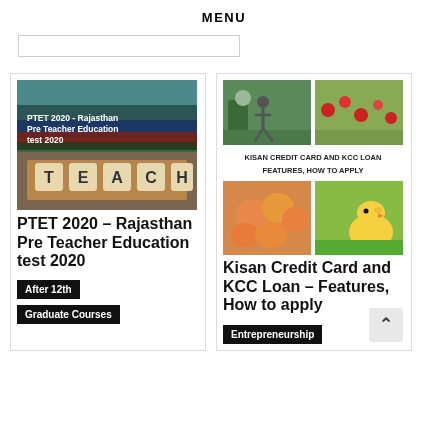MENU
[Figure (screenshot): Search bar input field]
[Figure (photo): PTET 2020 - Rajasthan Pre Teacher Education test 2020 with TEACH letter blocks on a table]
PTET 2020 – Rajasthan Pre Teacher Education test 2020
After 12th
Graduate Courses
[Figure (photo): Kisan Credit Card and KCC Loan Features collage with runner, red flowers, fruits, and chick]
Kisan Credit Card and KCC Loan – Features, How to apply
Entrepreneurship